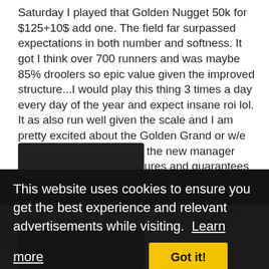Saturday I played that Golden Nugget 50k for $125+10$ add one. The field far surpassed expectations in both number and softness. It got I think over 700 runners and was maybe 85% droolers so epic value given the improved structure...I would play this thing 3 times a day every day of the year and expect insane roi lol. It as also run well given the scale and I am pretty excited about the Golden Grand or w/e series this summer since the new manager specified improved structures and guarantees so I will likely play a ton of those.
[Figure (screenshot): Dark/black image region at top-left, partially visible]
[Figure (screenshot): Cookie consent overlay banner with text: 'This website uses cookies to ensure you get the best experience and relevant advertisements while visiting. Learn more' and a 'Got it!' button]
lots showed to crush the guaranteed prizepool something like 700 people?
[Figure (screenshot): Dark/black image region at bottom-left]